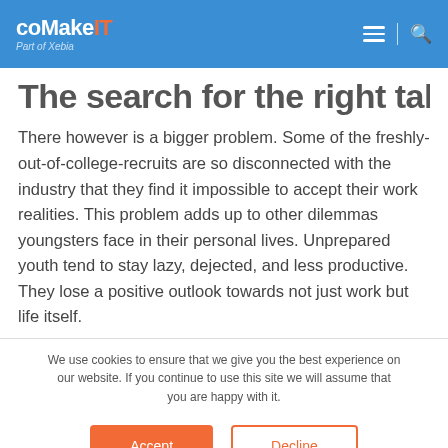coMakeIT Part of Xebia
The search for the right talent
There however is a bigger problem. Some of the freshly-out-of-college-recruits are so disconnected with the industry that they find it impossible to accept their work realities. This problem adds up to other dilemmas youngsters face in their personal lives. Unprepared youth tend to stay lazy, dejected, and less productive. They lose a positive outlook towards not just work but life itself.
We use cookies to ensure that we give you the best experience on our website. If you continue to use this site we will assume that you are happy with it.
Accept
Decline